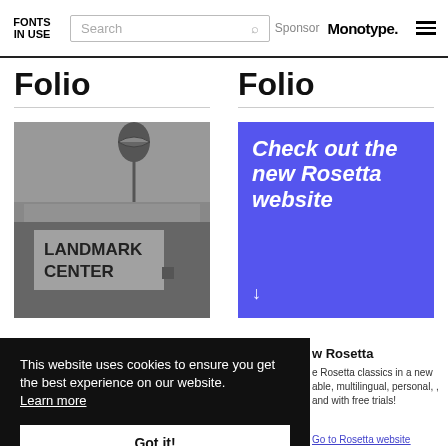FONTS IN USE | Search | Sponsor Monotype.
Folio
Folio
[Figure (photo): Black and white photo of Landmark Center sign on a brick wall with a spherical logo on a pole]
[Figure (infographic): Blue advertisement box with bold italic white text reading 'Check out the new Rosetta website' with a downward arrow]
This website uses cookies to ensure you get the best experience on our website. Learn more
Got it!
w Rosetta
e Rosetta classics in a new able, multilingual, personal, , and with free trials!
Go to Rosetta website